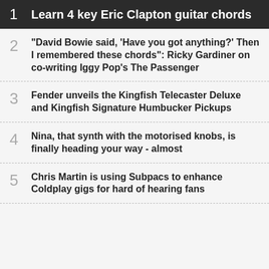1 Learn 4 key Eric Clapton guitar chords
2 "David Bowie said, ‘Have you got anything?’ Then I remembered these chords": Ricky Gardiner on co-writing Iggy Pop’s The Passenger
3 Fender unveils the Kingfish Telecaster Deluxe and Kingfish Signature Humbucker Pickups
4 Nina, that synth with the motorised knobs, is finally heading your way - almost
5 Chris Martin is using Subpacs to enhance Coldplay gigs for hard of hearing fans